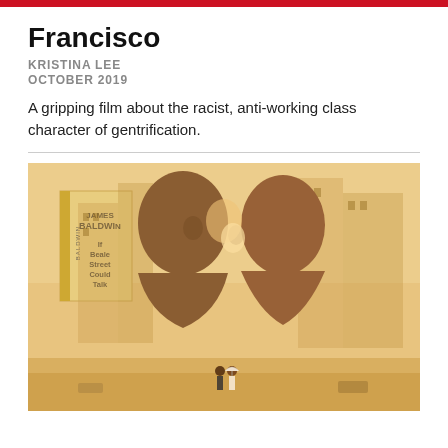Francisco
KRISTINA LEE
OCTOBER 2019
A gripping film about the racist, anti-working class character of gentrification.
[Figure (photo): Movie poster for 'If Beale Street Could Talk' by James Baldwin, showing two young Black people leaning in close, faces nearly touching, with a cityscape double-exposure and a book cover visible on the left.]